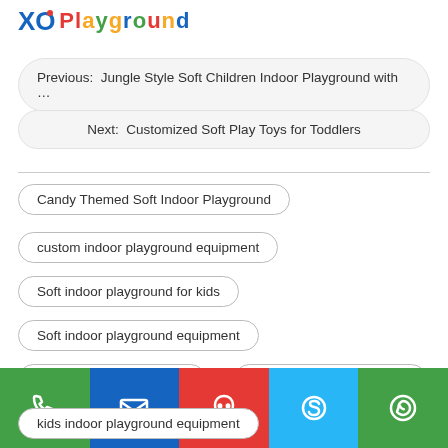XO Playground
Previous:  Jungle Style Soft Children Indoor Playground with …
Next:  Customized Soft Play Toys for Toddlers
Candy Themed Soft Indoor Playground
custom indoor playground equipment
Soft indoor playground for kids
Soft indoor playground equipment
soft play structure design
soft play structure for sale
kids indoor playground equipment
Phone | Email | QQ | Skype | WhatsApp